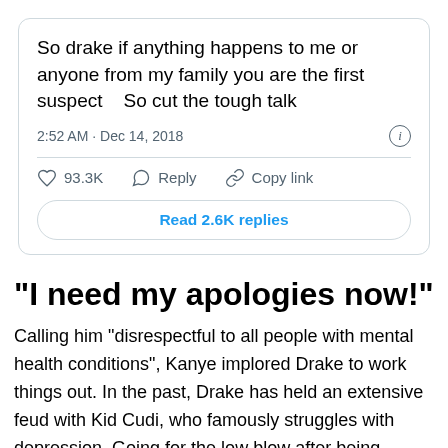[Figure (screenshot): Screenshot of a tweet reading: 'So drake if anything happens to me or anyone from my family you are the first suspect    So cut the tough talk' posted at 2:52 AM · Dec 14, 2018, with 93.3K likes, Reply and Copy link actions, and a 'Read 2.6K replies' button.]
“I need my apologies now!”
Calling him “disrespectful to all people with mental health conditions”, Kanye implored Drake to work things out. In the past, Drake has held an extensive feud with Kid Cudi, who famously struggles with depression. Going for the low blow after being name-checked for having ghost writers, Drake said this in “Two Birds, One Stone”: